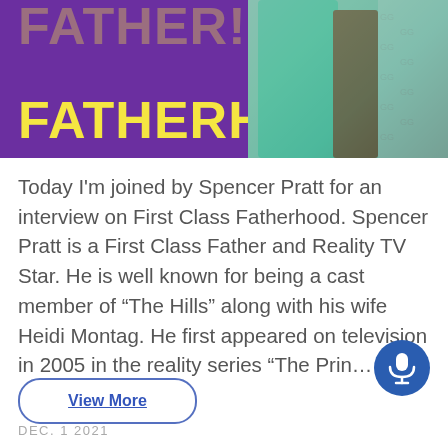[Figure (illustration): Banner image with purple background showing 'FATHERHOOD' in bold yellow text, with clothing/figures visible on the right side]
Today I'm joined by Spencer Pratt for an interview on First Class Fatherhood. Spencer Pratt is a First Class Father and Reality TV Star. He is well known for being a cast member of “The Hills” along with his wife Heidi Montag. He first appeared on television in 2005 in the reality series “The Prin…
View More
DEC. 1 2021